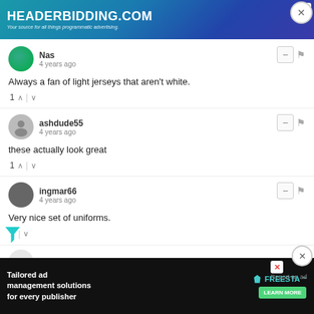[Figure (screenshot): Top advertisement banner for headerbidding.com with teal/blue gradient background]
Nas
4 years ago
Always a fan of light jerseys that aren't white.
1 ^ | v
ashdude55
4 years ago
these actually look great
1 ^ | v
ingmar66
4 years ago
Very nice set of uniforms.
^ | v
aamem79
Report an ad
[Figure (screenshot): Bottom advertisement banner for Freestar tailored ad management solutions]